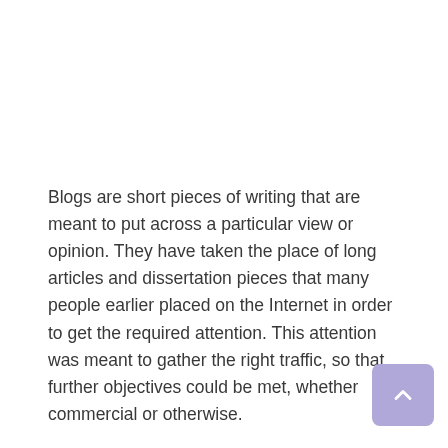Blogs are short pieces of writing that are meant to put across a particular view or opinion. They have taken the place of long articles and dissertation pieces that many people earlier placed on the Internet in order to get the required attention. This attention was meant to gather the right traffic, so that further objectives could be met, whether commercial or otherwise.